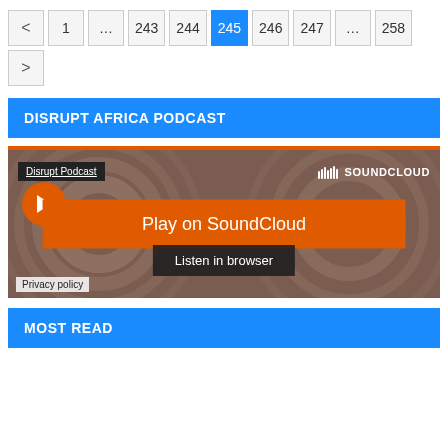< 1 ... 243 244 245 246 247 ... 258 >
DISRUPT AFRICA PODCAST
[Figure (screenshot): SoundCloud embedded player widget showing 'Disrupt Podcast' with SoundCloud logo, an orange play button labeled 'Play on SoundCloud', a 'Listen in browser' button, and a 'Privacy policy' link. Background is brownish with circular waveform graphics.]
MOST READ